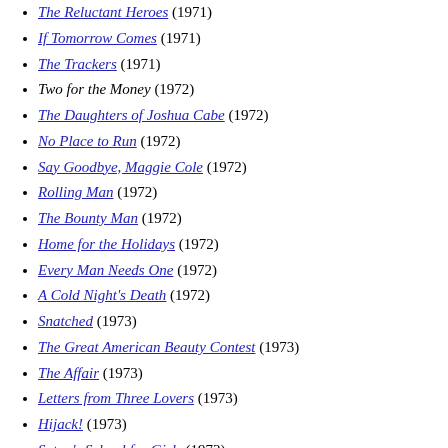The Reluctant Heroes (1971)
If Tomorrow Comes (1971)
The Trackers (1971)
Two for the Money (1972)
The Daughters of Joshua Cabe (1972)
No Place to Run (1972)
Say Goodbye, Maggie Cole (1972)
Rolling Man (1972)
The Bounty Man (1972)
Home for the Holidays (1972)
Every Man Needs One (1972)
A Cold Night's Death (1972)
Snatched (1973)
The Great American Beauty Contest (1973)
The Affair (1973)
Letters from Three Lovers (1973)
Hijack! (1973)
Satan's School for Girls (1973)
The Bait (1973)
The Letters (1973)
Death Squad (1974)
The Fireman's Ball (1974)
Cry Panic (1974)
The Girl Who Came Gift-Wrapped (1974)
Savages (1974)
Death Sentence (1974)